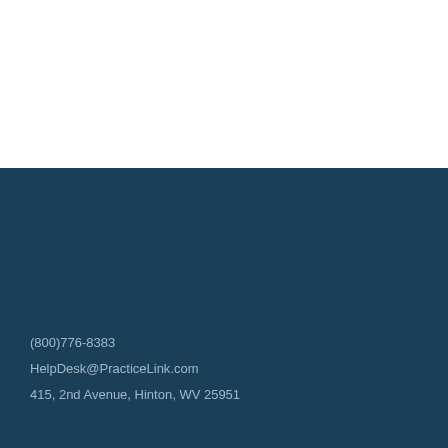(800)776-8383
HelpDesk@PracticeLink.com
415, 2nd Avenue, Hinton, WV 25951